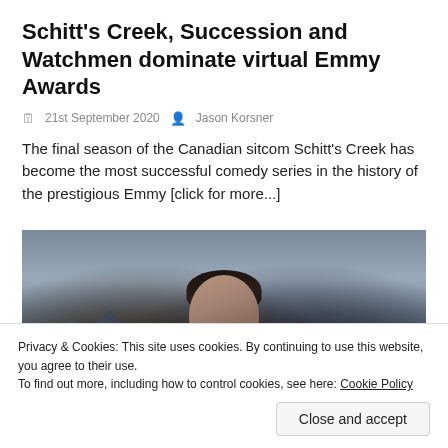Schitt's Creek, Succession and Watchmen dominate virtual Emmy Awards
21st September 2020   Jason Korsner
The final season of the Canadian sitcom Schitt's Creek has become the most successful comedy series in the history of the prestigious Emmy [click for more...]
[Figure (photo): A person with dark hair viewed from below against a backdrop of rocky formations and a blue-grey sky]
Privacy & Cookies: This site uses cookies. By continuing to use this website, you agree to their use.
To find out more, including how to control cookies, see here: Cookie Policy